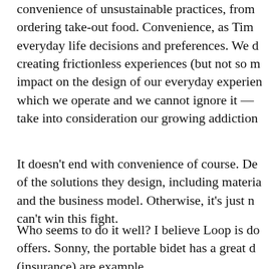convenience of unsustainable practices, from ordering take-out food. Convenience, as Tim everyday life decisions and preferences. We d creating frictionless experiences (but not so m impact on the design of our everyday experien which we operate and we cannot ignore it — take into consideration our growing addiction
It doesn't end with convenience of course. De of the solutions they design, including materia and the business model. Otherwise, it's just n can't win this fight.
Who seems to do it well? I believe Loop is do offers. Sonny, the portable bidet has a great d (insurance) are example